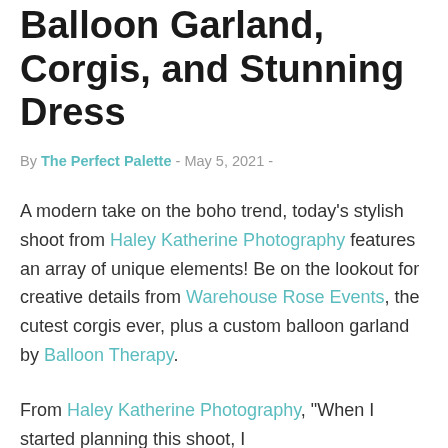Balloon Garland, Corgis, and Stunning Dress
By The Perfect Palette - May 5, 2021 -
A modern take on the boho trend, today's stylish shoot from Haley Katherine Photography features an array of unique elements! Be on the lookout for creative details from Warehouse Rose Events, the cutest corgis ever, plus a custom balloon garland by Balloon Therapy.
From Haley Katherine Photography, "When I started planning this shoot, I